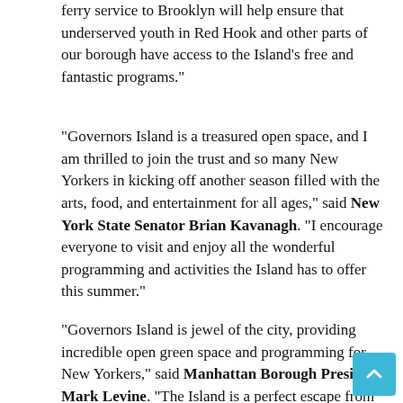ferry service to Brooklyn will help ensure that underserved youth in Red Hook and other parts of our borough have access to the Island’s free and fantastic programs.”
“Governors Island is a treasured open space, and I am thrilled to join the trust and so many New Yorkers in kicking off another season filled with the arts, food, and entertainment for all ages,” said New York State Senator Brian Kavanagh. “I encourage everyone to visit and enjoy all the wonderful programming and activities the Island has to offer this summer.”
“Governors Island is jewel of the city, providing incredible open green space and programming for New Yorkers,” said Manhattan Borough President Mark Levine. “The Island is a perfect escape from the concrete jungle, whether you’re looking for lush lawns, car-free biking, or just a quiet spot. I’m glad that ferry service is being expanded so that even more New Yorkers can enjoy the island, and I